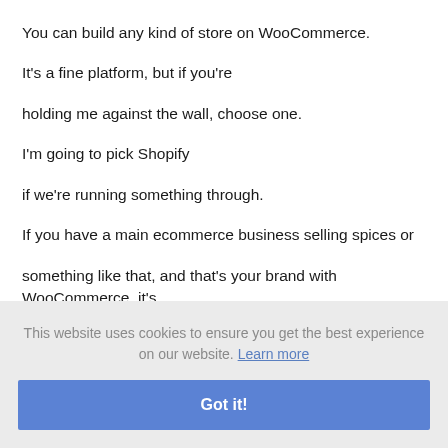You can build any kind of store on WooCommerce.
It's a fine platform, but if you're
holding me against the wall, choose one.
I'm going to pick Shopify
if we're running something through.
If you have a main ecommerce business selling spices or
something like that, and that's your brand with WooCommerce, it's
This website uses cookies to ensure you get the best experience on our website. Learn more
Got it!